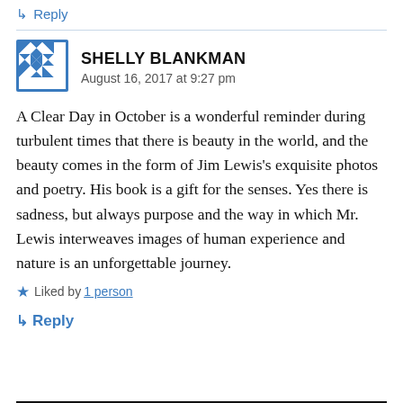↳ Reply
[Figure (illustration): WordPress-style avatar: blue and white geometric quilt pattern in a square frame with blue border]
SHELLY BLANKMAN
August 16, 2017 at 9:27 pm
A Clear Day in October is a wonderful reminder during turbulent times that there is beauty in the world, and the beauty comes in the form of Jim Lewis's exquisite photos and poetry. His book is a gift for the senses. Yes there is sadness, but always purpose and the way in which Mr. Lewis interweaves images of human experience and nature is an unforgettable journey.
★ Liked by 1 person
↳ Reply